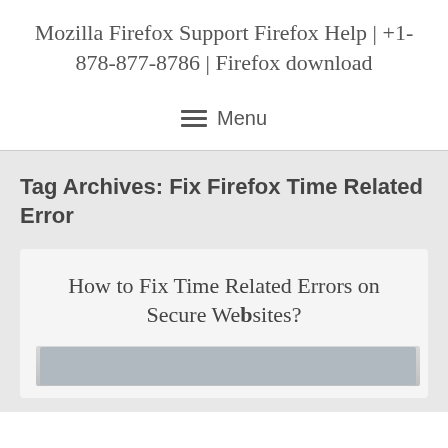Mozilla Firefox Support Firefox Help | +1-878-877-8786 | Firefox download
Menu
Tag Archives: Fix Firefox Time Related Error
How to Fix Time Related Errors on Secure Websites?
[Figure (screenshot): Partial screenshot of a webpage, cropped at bottom]